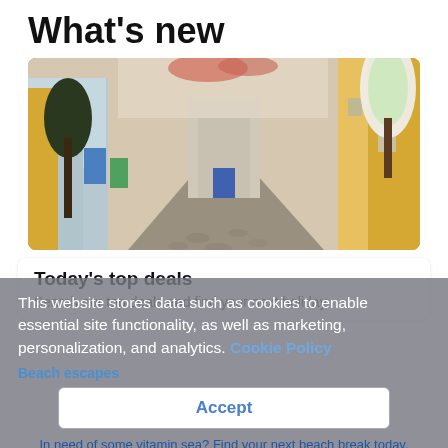What's new
[Figure (photo): A colorful narrow cobblestone street with pastel-colored buildings, trees, and flowering vines in a Mediterranean or Portuguese town.]
Today's top deals
Search our top deals and find your next holiday.
This website stores data such as cookies to enable essential site functionality, as well as marketing, personalization, and analytics. Cookie Policy
Beach escapes
Accept
In need of some vitamin sea? Find your next beach break today.
Deny